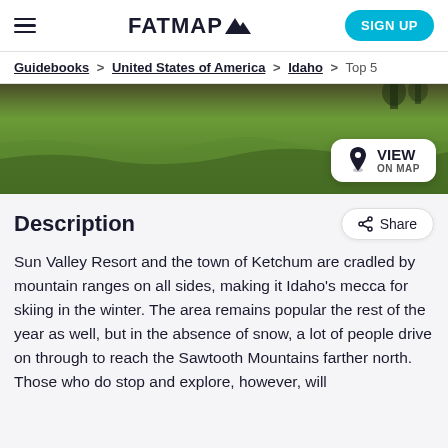FATMAP — SIGN UP
Guidebooks > United States of America > Idaho > Top 5
[Figure (photo): Aerial or ground-level photo showing green grassy hillside or mountain meadow with a VIEW ON MAP button overlay]
Description
Sun Valley Resort and the town of Ketchum are cradled by mountain ranges on all sides, making it Idaho's mecca for skiing in the winter. The area remains popular the rest of the year as well, but in the absence of snow, a lot of people drive on through to reach the Sawtooth Mountains farther north. Those who do stop and explore, however, will